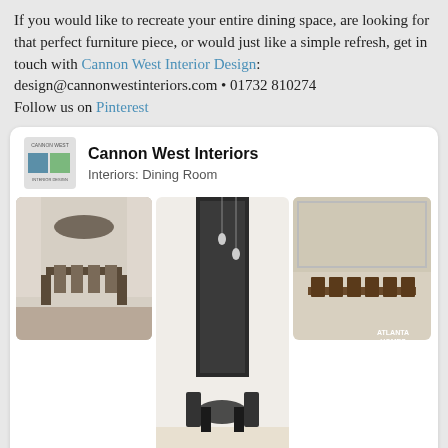If you would like to recreate your entire dining space, are looking for that perfect furniture piece, or would just like a simple refresh, get in touch with Cannon West Interior Design: design@cannonwestinteriors.com • 01732 810274
Follow us on Pinterest
[Figure (screenshot): Pinterest board screenshot showing 'Cannon West Interiors – Interiors: Dining Room' with a grid of dining room photos and a Follow On Pinterest button at the bottom.]